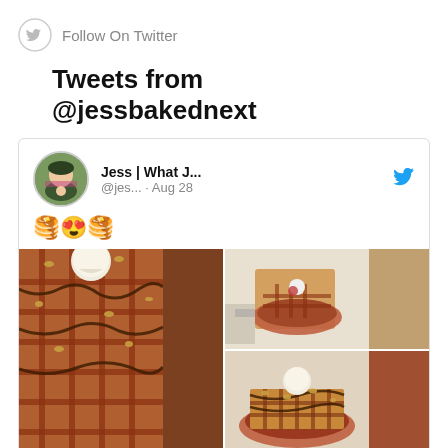Follow On Twitter
Tweets from @jessbakednext
[Figure (screenshot): Tweet by Jess | What J... (@jes...) on Aug 28 with pancake and heart-eyes emojis and 4 food photos of waffles with ice cream, chocolate sauce and nuts. Reply count: 1, Like count: 2.]
[Figure (screenshot): Second tweet card by Jess | What J... partially visible at the bottom of the page.]